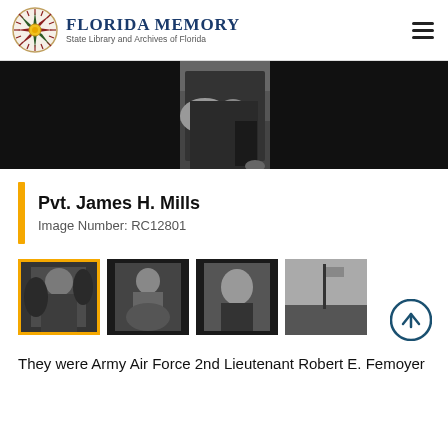Florida Memory — State Library and Archives of Florida
[Figure (photo): Black and white photograph cropped showing a person in military uniform holding flowers, set against a dark background banner]
Pvt. James H. Mills
Image Number: RC12801
[Figure (photo): Four black and white thumbnail photographs; the first is selected with a yellow/gold border, showing a person in foliage; the second shows a seated person; the third shows a portrait of a young person; the fourth shows a landscape/flag scene]
They were Army Air Force 2nd Lieutenant Robert E. Femoyer